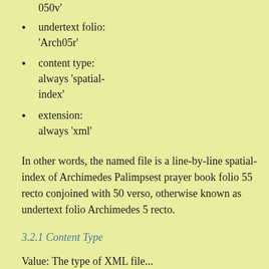folio: '055r' 050v'
undertext folio: 'Arch05r'
content type: always 'spatial-index'
extension: always 'xml'
In other words, the named file is a line-by-line spatial-index of Archimedes Palimpsest prayer book folio 55 recto conjoined with 50 verso, otherwise known as undertext folio Archimedes 5 recto.
3.2.1 Content Type
Value: The type of XML file...